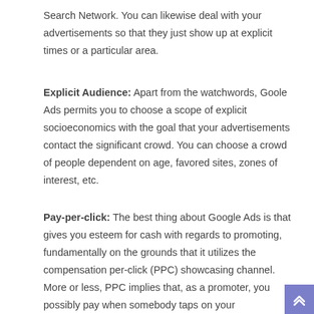Search Network. You can likewise deal with your advertisements so that they just show up at explicit times or a particular area.
Explicit Audience: Apart from the watchwords, Goole Ads permits you to choose a scope of explicit socioeconomics with the goal that your advertisements contact the significant crowd. You can choose a crowd of people dependent on age, favored sites, zones of interest, etc.
Pay-per-click: The best thing about Google Ads is that gives you esteem for cash with regards to promoting, fundamentally on the grounds that it utilizes the compensation per-click (PPC) showcasing channel. More or less, PPC implies that, as a promoter, you possibly pay when somebody taps on your